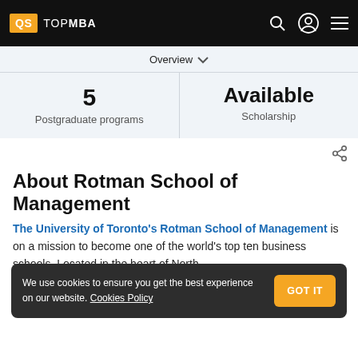QS TOPMBA
Overview
5
Postgraduate programs
Available
Scholarship
About Rotman School of Management
The University of Toronto's Rotman School of Management is on a mission to become one of the world's top ten business schools. Located in the heart of North
We use cookies to ensure you get the best experience on our website. Cookies Policy
GOT IT